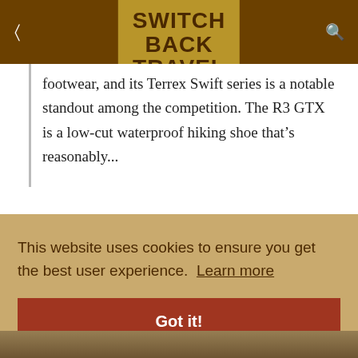SWITCH BACK TRAVEL
footwear, and its Terrex Swift series is a notable standout among the competition. The R3 GTX is a low-cut waterproof hiking shoe that’s reasonably...
This website uses cookies to ensure you get the best user experience. Learn more
Got it!
[Figure (photo): Bottom strip showing outdoor/hiking image, partially visible]